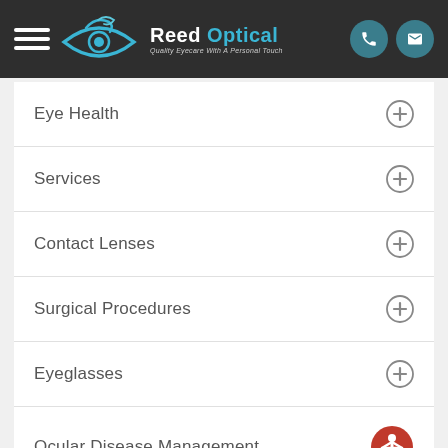[Figure (logo): Reed Optical logo with eye graphic, name in white and teal, tagline 'Quality Eyecare With A Personal Touch', hamburger menu icon, phone and email icon buttons]
Eye Health
Services
Contact Lenses
Surgical Procedures
Eyeglasses
Ocular Disease Management